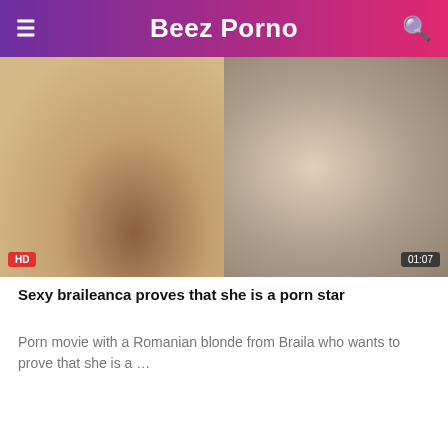Beez Porno
[Figure (screenshot): Two video thumbnails side by side: left has HD badge, right has 01:07 duration badge]
Sexy braileanca proves that she is a porn star
Porn movie with a Romanian blonde from Braila who wants to prove that she is a …